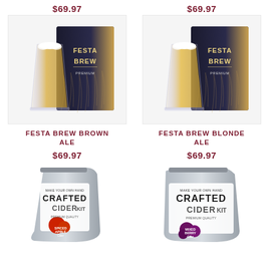$69.97
$69.97
[Figure (photo): Festa Brew Brown Ale product box with a pint glass of beer]
[Figure (photo): Festa Brew Blonde Ale product box with a pint glass of beer]
FESTA BREW BROWN ALE
FESTA BREW BLONDE ALE
$69.97
$69.97
[Figure (photo): Crafted Cider Kit - Spiced Apple Cider pouch]
[Figure (photo): Crafted Cider Kit - Mixed Berry Cider pouch]